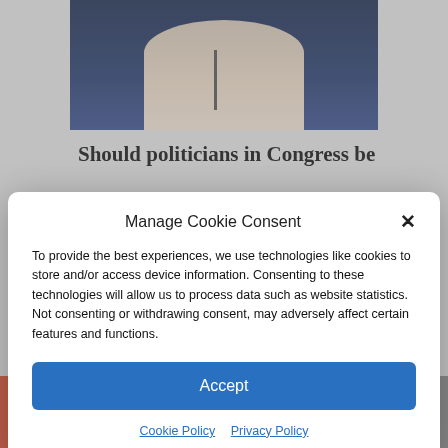[Figure (screenshot): Screenshot of a news/media webpage partially visible behind a cookie consent modal. The background shows a photo of a woman speaking at a microphone against a dark blue background, a partially visible bold headline beginning with 'Should politicians in Congress be', and at the bottom partial view of hands. A social sharing bar is visible at the very bottom with plus, Facebook, Twitter, share, and email buttons.]
Manage Cookie Consent
To provide the best experiences, we use technologies like cookies to store and/or access device information. Consenting to these technologies will allow us to process data such as website statistics. Not consenting or withdrawing consent, may adversely affect certain features and functions.
Accept
Cookie Policy   Privacy Policy